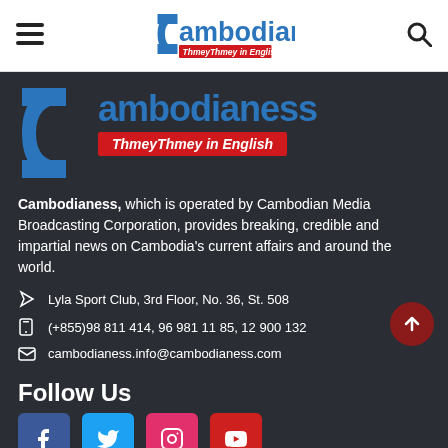Cambodianess navigation bar with hamburger menu, logo, and search icon
[Figure (logo): Cambodianess logo - large blue C with 'ambodianess' text and red 'ThmeyThmey in English' tagline on dark background]
Cambodianess, which is operated by Cambodian Media Broadcasting Corporation, provides breaking, credible and impartial news on Cambodia's current affairs and around the world.
Lyla Sport Club, 3rd Floor, No. 36, St. 508
(+855)98 811 414, 96 981 11 85, 12 900 132
cambodianess.info@cambodianess.com
Follow Us
[Figure (infographic): Social media icons row: Facebook (blue), Twitter (light blue), Instagram (pink/red), YouTube (red)]